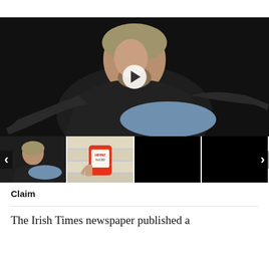[Figure (photo): Man with grey-blond hair and beard wearing a black jacket, seated in a relaxed pose with hands gesturing, against a dark background. A white play button overlay appears centered on the image.]
[Figure (photo): Thumbnail row with four images: first shows the same man seated, second shows a hand holding a Heinz ketchup product, third and fourth are dark/black frames. Navigation left and right arrows flank the row.]
Claim
The Irish Times newspaper published a